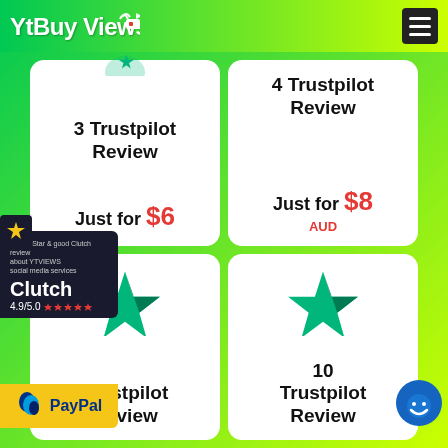YtBuy Views
[Figure (infographic): Card: 3 Trustpilot Review Just for $6]
[Figure (infographic): Card: 4 Trustpilot Review Just for $8 AUD]
[Figure (infographic): Card: Trustpilot Review with Trustpilot star icon]
[Figure (infographic): Card: 10 Trustpilot Review with Trustpilot star icon]
[Figure (logo): Clutch badge 4.9/5.0 with star rating and PayPal badge below]
[Figure (illustration): Blue circle with smiley face icon, bottom right]